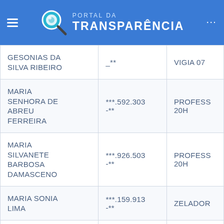PORTAL DA TRANSPARÊNCIA
| Nome | CPF | Cargo |
| --- | --- | --- |
| GESONIAS DA SILVA RIBEIRO | _** | VIGIA 07 |
| MARIA SENHORA DE ABREU FERREIRA | ***.592.303-** | PROFESS 20H |
| MARIA SILVANETE BARBOSA DAMASCENO | ***.926.503-** | PROFESS 20H |
| MARIA SONIA LIMA | ***.159.913-** | ZELADOR |
|  |  |  |